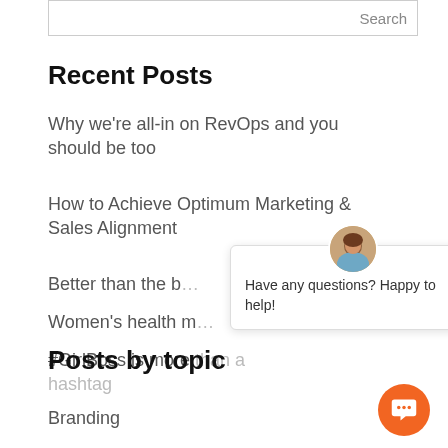[Figure (screenshot): Search bar with 'Search' button on the right]
Recent Posts
Why we're all-in on RevOps and you should be too
How to Achieve Optimum Marketing & Sales Alignment
Better than the b...
Women's health m...
#GirlBoss is more than a hashtag
[Figure (screenshot): Chat popup widget with avatar photo, close X button, and text 'Have any questions? Happy to help!']
Posts by topic
Branding